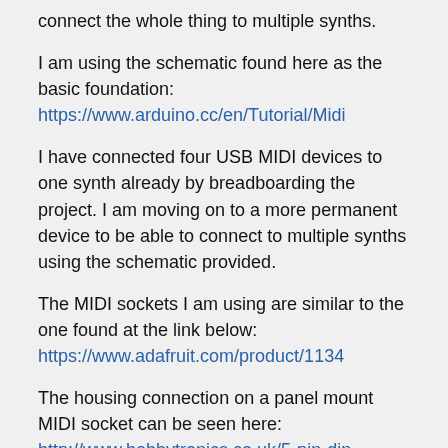connect the whole thing to multiple synths.
I am using the schematic found here as the basic foundation:
https://www.arduino.cc/en/Tutorial/Midi
I have connected four USB MIDI devices to one synth already by breadboarding the project. I am moving on to a more permanent device to be able to connect to multiple synths using the schematic provided.
The MIDI sockets I am using are similar to the one found at the link below:
https://www.adafruit.com/product/1134
The housing connection on a panel mount MIDI socket can be seen here:
http://www.hobbytronics.co.uk/5-pin-din-chassis-socket
The above is just to be thorough. My question is regarding the connection on the sockets that connects to the circular MIDI cable housing that